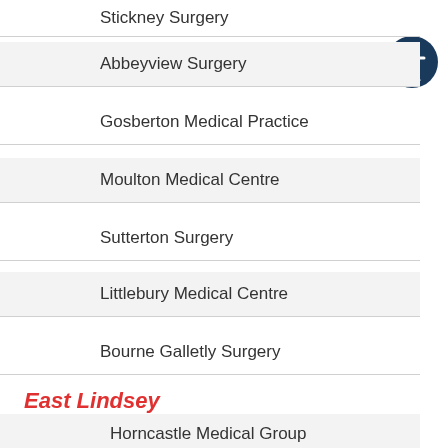Stickney Surgery
Abbeyview Surgery
Gosberton Medical Practice
Moulton Medical Centre
Sutterton Surgery
Littlebury Medical Centre
Bourne Galletly Surgery
East Lindsey
Horncastle Medical Group
Tasburgh Lodge Surgery